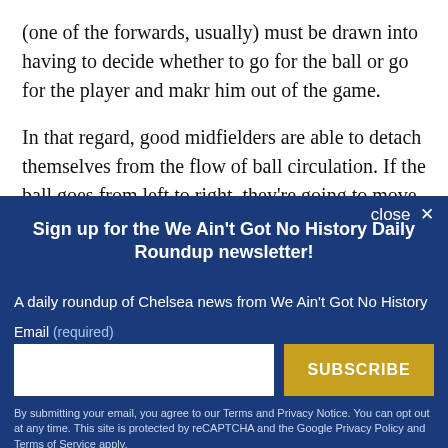(one of the forwards, usually) must be drawn into having to decide whether to go for the ball or go for the player and makr him out of the game.

In that regard, good midfielders are able to detach themselves from the flow of ball circulation. If the ball goes from left to right, they're going to move in the
[Figure (screenshot): Newsletter signup modal overlay with dark blue background. Title: 'Sign up for the We Ain't Got No History Daily Roundup newsletter!' Subtitle: 'A daily roundup of Chelsea news from We Ain't Got No History'. Email input field and SUBSCRIBE button. Footer text about Terms and Privacy Notice.]